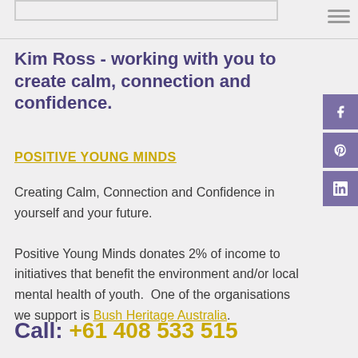Kim Ross - working with you to create calm, connection and confidence.
POSITIVE YOUNG MINDS
Creating Calm, Connection and Confidence in yourself and your future.
Positive Young Minds donates 2% of income to initiatives that benefit the environment and/or local mental health of youth. One of the organisations we support is Bush Heritage Australia.
Call: +61 408 533 515